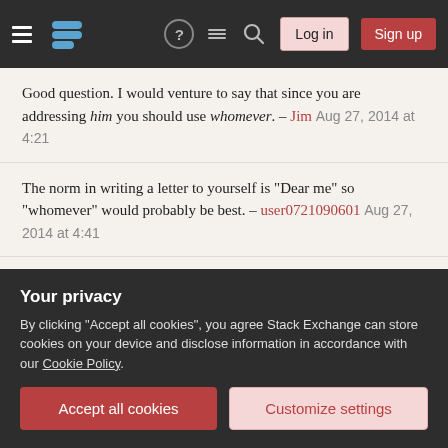Stack Exchange navigation bar with hamburger menu, logo, help, chat, search icons, Log in and Sign up buttons
Good question. I would venture to say that since you are addressing him you should use whomever. – Jim Aug 27, 2014 at 4:21
The norm in writing a letter to yourself is "Dear me" so "whomever" would probably be best. – user0721090601 Aug 27, 2014 at 4:41
The vocative case is used for such pronouns. It is a case in Latin, where it is exactly like the nominative in every declension except 2nd Masculine, where it has an -e suffix instead of the nominative -us (that's why Domine in Domine, non sum dignus 'O lord I am not worthy'). So your question answers itself. The next question is What is the vocative
Your privacy
By clicking "Accept all cookies", you agree Stack Exchange can store cookies on your device and disclose information in accordance with our Cookie Policy.
Accept all cookies   Customize settings